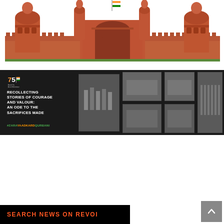[Figure (photo): Red Fort monument in New Delhi with Indian flag flying on top, red sandstone architecture against white background]
[Figure (infographic): Dark banner with Azadi Ka Amrit Mahotsav logo, text 'RECOLLECTING STORIES OF COURAGE AND VALOUR: AN ODE TO THE SACRIFICES MADE', hashtag #ZaraYaadKardQurbani, and a collage of black-and-white historical photos of India's independence movement]
SEARCH NEWS ON REVOI